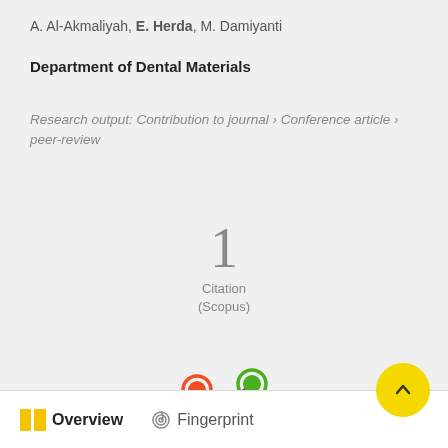A. Al-Akmaliyah, E. Herda, M. Damiyanti
Department of Dental Materials
Research output: Contribution to journal › Conference article › peer-review
[Figure (infographic): Citation count: 1 Citation (Scopus)]
[Figure (logo): Altmetric logo - stylized asterisk with colored circles in orange, green, and purple]
Overview
Fingerprint